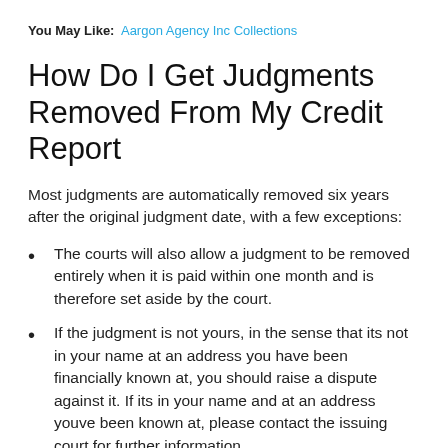You May Like: Aargon Agency Inc Collections
How Do I Get Judgments Removed From My Credit Report
Most judgments are automatically removed six years after the original judgment date, with a few exceptions:
The courts will also allow a judgment to be removed entirely when it is paid within one month and is therefore set aside by the court.
If the judgment is not yours, in the sense that its not in your name at an address you have been financially known at, you should raise a dispute against it. If its in your name and at an address youve been known at, please contact the issuing court for further information.